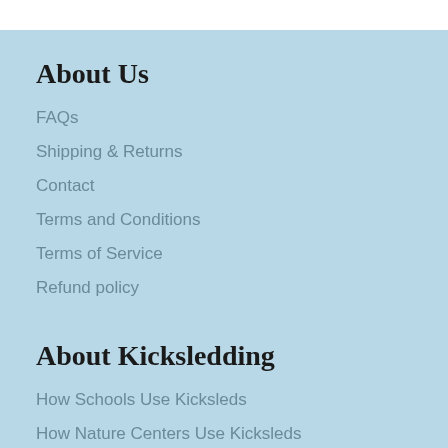About Us
FAQs
Shipping & Returns
Contact
Terms and Conditions
Terms of Service
Refund policy
About Kicksledding
How Schools Use Kicksleds
How Nature Centers Use Kicksleds